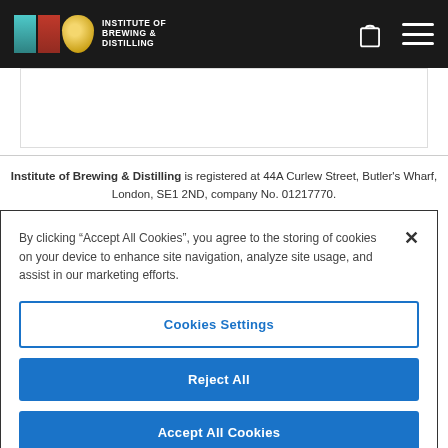[Figure (logo): Institute of Brewing & Distilling logo with teal, red, and gold blocks and white text on dark header bar]
Institute of Brewing & Distilling is registered at 44A Curlew Street, Butler's Wharf, London, SE1 2ND, company No. 01217770.
By clicking "Accept All Cookies", you agree to the storing of cookies on your device to enhance site navigation, analyze site usage, and assist in our marketing efforts.
Cookies Settings
Reject All
Accept All Cookies